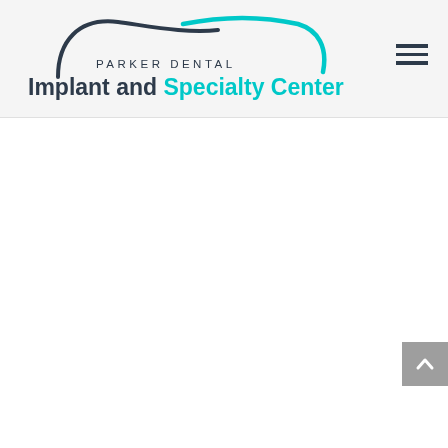[Figure (logo): Parker Dental Implant and Specialty Center logo with a tooth silhouette curve in black and teal/cyan colors]